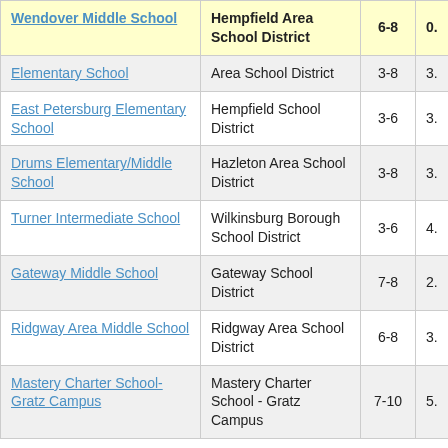| School | District | Grades | Score |
| --- | --- | --- | --- |
| Wendover Middle School | Hempfield Area School District | 6-8 | 0. |
| Elementary School | Area School District | 3-8 | 3. |
| East Petersburg Elementary School | Hempfield School District | 3-6 | 3. |
| Drums Elementary/Middle School | Hazleton Area School District | 3-8 | 3. |
| Turner Intermediate School | Wilkinsburg Borough School District | 3-6 | 4. |
| Gateway Middle School | Gateway School District | 7-8 | 2. |
| Ridgway Area Middle School | Ridgway Area School District | 6-8 | 3. |
| Mastery Charter School-Gratz Campus | Mastery Charter School - Gratz Campus | 7-10 | 5. |